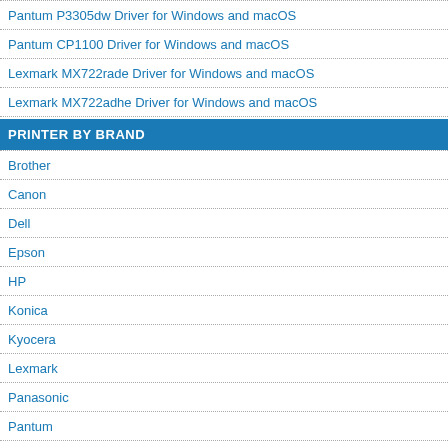Pantum P3305dw Driver for Windows and macOS
Pantum CP1100 Driver for Windows and macOS
Lexmark MX722rade Driver for Windows and macOS
Lexmark MX722adhe Driver for Windows and macOS
PRINTER BY BRAND
Brother
Canon
Dell
Epson
HP
Konica
Kyocera
Lexmark
Panasonic
Pantum
Printer